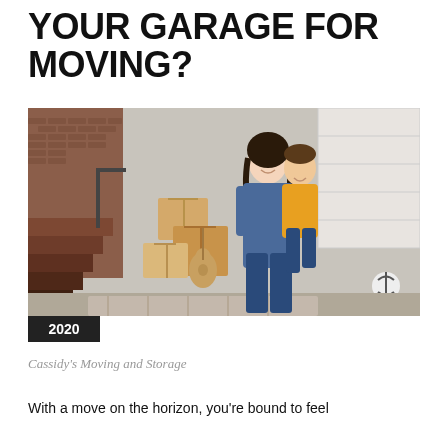YOUR GARAGE FOR MOVING?
[Figure (photo): A smiling woman carrying a young girl in a yellow hoodie, standing in front of a house with moving boxes and an open garage door. A date badge shows 10 MAR overlaid on the lower left of the photo, with 2020 below.]
Cassidy's Moving and Storage
With a move on the horizon, you're bound to feel